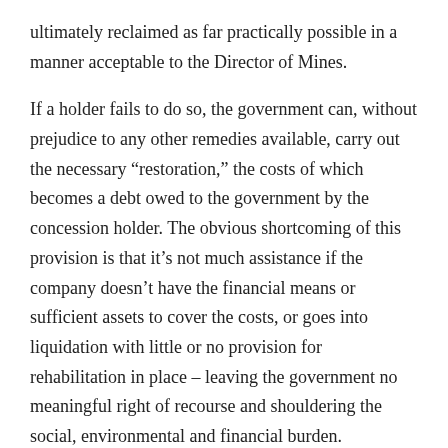ultimately reclaimed as far practically possible in a manner acceptable to the Director of Mines.
If a holder fails to do so, the government can, without prejudice to any other remedies available, carry out the necessary “restoration,” the costs of which becomes a debt owed to the government by the concession holder. The obvious shortcoming of this provision is that it’s not much assistance if the company doesn’t have the financial means or sufficient assets to cover the costs, or goes into liquidation with little or no provision for rehabilitation in place – leaving the government no meaningful right of recourse and shouldering the social, environmental and financial burden.
The Act allows the Minister to make regulations for the protection of the environment, but so far this hasn’t happened, leading to uncertainty among stakeholders as to the expectations of the Director of Mines regarding